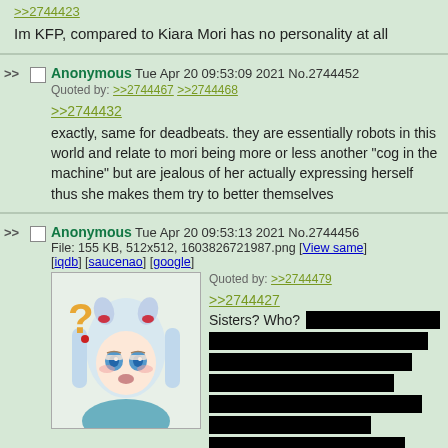>>2744423
Im KFP, compared to Kiara Mori has no personality at all
Anonymous Tue Apr 20 09:53:09 2021 No.2744452
Quoted by: >>2744467 >>2744468
>>2744432
exactly, same for deadbeats. they are essentially robots in this world and relate to mori being more or less another "cog in the machine" but are jealous of her actually expressing herself thus she makes them try to better themselves
Anonymous Tue Apr 20 09:53:13 2021 No.2744456
File: 155 KB, 512x512, 1603826721987.png [View same] [iqdb] [saucenao] [google]
Quoted by: >>2744479
>>2744427
Sisters? Who? [redacted]